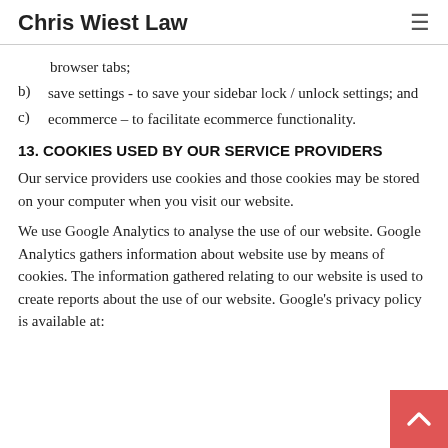Chris Wiest Law
browser tabs;
b)   save settings - to save your sidebar lock / unlock settings; and
c)   ecommerce – to facilitate ecommerce functionality.
13. COOKIES USED BY OUR SERVICE PROVIDERS
Our service providers use cookies and those cookies may be stored on your computer when you visit our website.
We use Google Analytics to analyse the use of our website. Google Analytics gathers information about website use by means of cookies. The information gathered relating to our website is used to create reports about the use of our website. Google's privacy policy is available at: